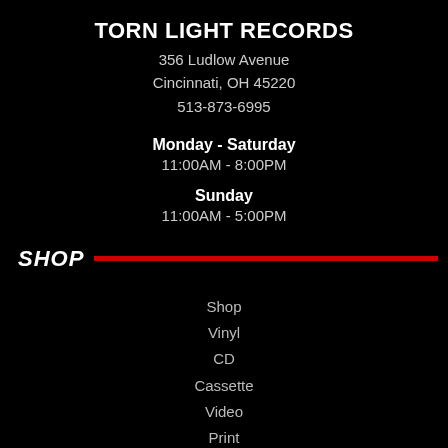TORN LIGHT RECORDS
356 Ludlow Avenue
Cincinnati, OH 45220
513-873-6995
Monday - Saturday
11:00AM - 8:00PM
Sunday
11:00AM - 5:00PM
SHOP
Shop
Vinyl
CD
Cassette
Video
Print
Merchandise
Specialty Items